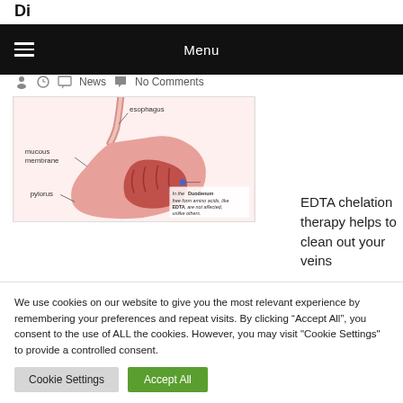Di
Menu
News   No Comments
[Figure (illustration): Medical illustration of the stomach showing esophagus, mucous membrane, pylorus, and duodenum with annotation about EDTA free form amino acids]
EDTA chelation therapy helps to clean out your veins
We use cookies on our website to give you the most relevant experience by remembering your preferences and repeat visits. By clicking “Accept All”, you consent to the use of ALL the cookies. However, you may visit "Cookie Settings" to provide a controlled consent.
Cookie Settings   Accept All